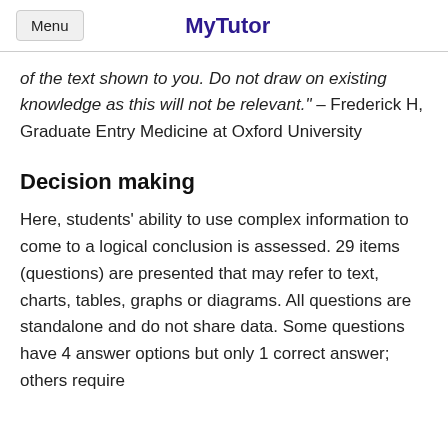Menu  MyTutor
of the text shown to you. Do not draw on existing knowledge as this will not be relevant." – Frederick H, Graduate Entry Medicine at Oxford University
Decision making
Here, students' ability to use complex information to come to a logical conclusion is assessed. 29 items (questions) are presented that may refer to text, charts, tables, graphs or diagrams. All questions are standalone and do not share data. Some questions have 4 answer options but only 1 correct answer; others require